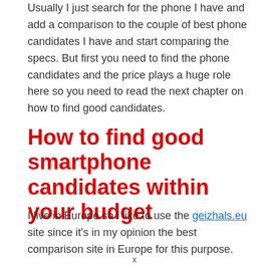Usually I just search for the phone I have and add a comparison to the couple of best phone candidates I have and start comparing the specs. But first you need to find the phone candidates and the price plays a huge role here so you need to read the next chapter on how to find good candidates.
How to find good smartphone candidates within your budget
I live in Europe so I like to use the geizhals.eu site since it's in my opinion the best comparison site in Europe for this purpose.
x